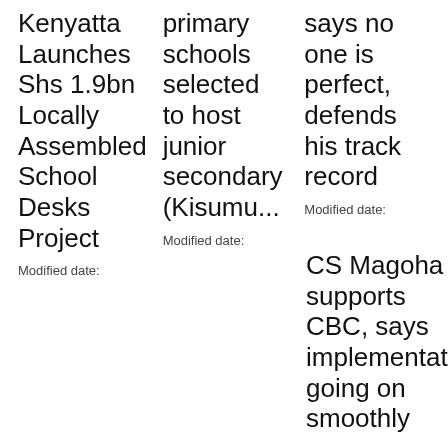Kenyatta Launches Shs 1.9bn Locally Assembled School Desks Project
Modified date:
primary schools selected to host junior secondary (Kisumu...
Modified date:
says no one is perfect, defends his track record
Modified date:
CS Magoha supports CBC, says implementation going on smoothly